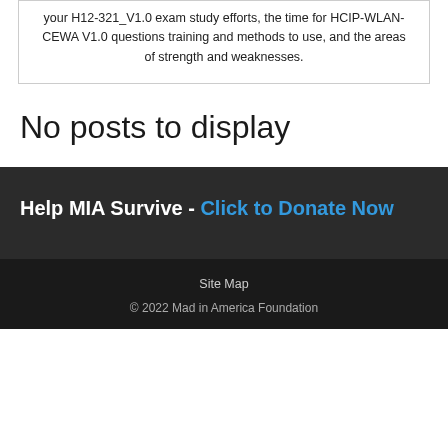your H12-321_V1.0 exam study efforts, the time for HCIP-WLAN-CEWA V1.0 questions training and methods to use, and the areas of strength and weaknesses.
No posts to display
Help MIA Survive - Click to Donate Now
Site Map
© 2022 Mad in America Foundation